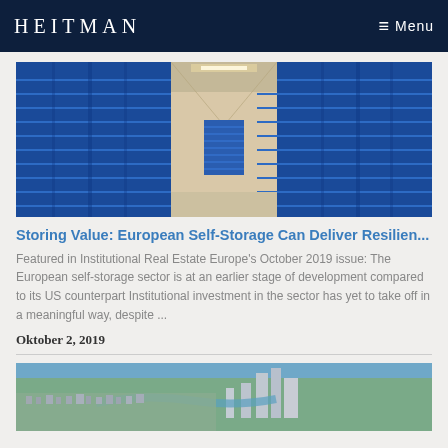HEITMAN   Menu
[Figure (photo): Interior corridor of a self-storage facility with rows of blue corrugated metal roll-up doors on both sides.]
Storing Value: European Self-Storage Can Deliver Resilien...
Featured in Institutional Real Estate Europe's October 2019 issue: The European self-storage sector is at an earlier stage of development compared to its US counterpart Institutional investment in the sector has yet to take off in a meaningful way, despite ...
Oktober 2, 2019
[Figure (photo): Aerial view of a coastal city with high-rise buildings, a river, urban neighborhoods, and ocean beach in the background.]